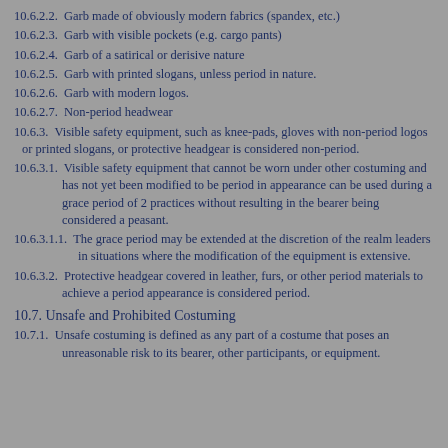10.6.2.2. Garb made of obviously modern fabrics (spandex, etc.)
10.6.2.3. Garb with visible pockets (e.g. cargo pants)
10.6.2.4. Garb of a satirical or derisive nature
10.6.2.5. Garb with printed slogans, unless period in nature.
10.6.2.6. Garb with modern logos.
10.6.2.7. Non-period headwear
10.6.3. Visible safety equipment, such as knee-pads, gloves with non-period logos or printed slogans, or protective headgear is considered non-period.
10.6.3.1. Visible safety equipment that cannot be worn under other costuming and has not yet been modified to be period in appearance can be used during a grace period of 2 practices without resulting in the bearer being considered a peasant.
10.6.3.1.1. The grace period may be extended at the discretion of the realm leaders in situations where the modification of the equipment is extensive.
10.6.3.2. Protective headgear covered in leather, furs, or other period materials to achieve a period appearance is considered period.
10.7. Unsafe and Prohibited Costuming
10.7.1. Unsafe costuming is defined as any part of a costume that poses an unreasonable risk to its bearer, other participants, or equipment.